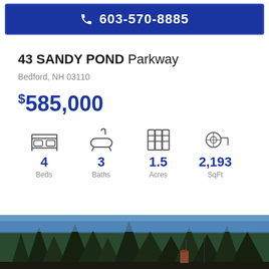603-570-8885
43 SANDY POND Parkway
Bedford, NH 03110
$585,000
4 Beds, 3 Baths, 1.5 Acres, 2,193 SqFt
[Figure (photo): Exterior photo of property showing trees and driveway entrance]